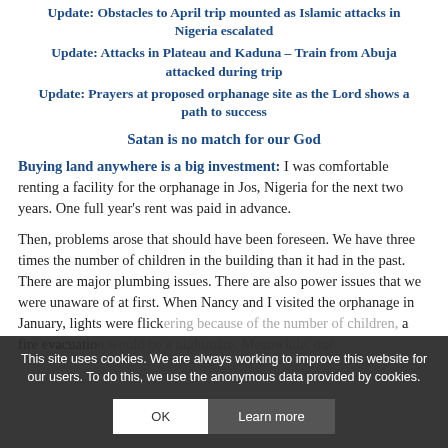Update: Obstacles to April trip mounted as Islamic attacks in Nigeria escalated
Update: Attacks in Plateau and Kaduna – Train from Abuja attacked during trip
Update: Prayers at proposed orphanage site as the Lord shows a path to success
Satan is no match for our God
Buying land anywhere is a big investment: I was comfortable renting a facility for the orphanage in Jos, Nigeria for the next two years. One full year's rent was paid in advance.
Then, problems arose that should have been foreseen. We have three times the number of children in the building than it had in the past. There are major plumbing issues. There are also power issues that we were unaware of at first. When Nancy and I visited the orphanage in January, lights were flickering because of the number of children, a fire evacuation would be a nightmare. Meanwhile, our
This site uses cookies. We are always working to improve this website for our users. To do this, we use the anonymous data provided by cookies.